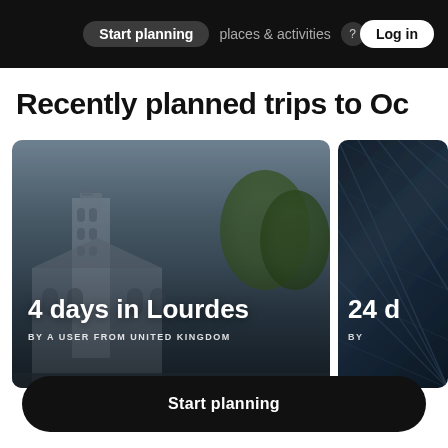Start planning  places & activities  Log in
Recently planned trips to Oc
[Figure (photo): Photo card of Lourdes cathedral with overlay text '4 days in Lourdes' and 'BY A USER FROM UNITED KINGDOM']
[Figure (photo): Partial photo card of a glass pyramid structure with overlay text '24 d' and 'BY']
Start planning